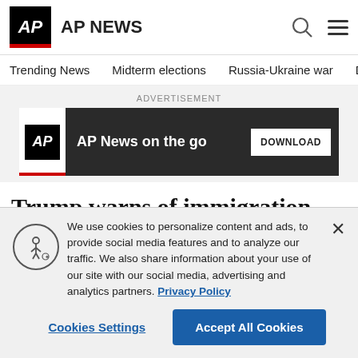AP NEWS
Trending News | Midterm elections | Russia-Ukraine war | Dona
[Figure (screenshot): AP News on the go advertisement banner with download button]
Trump warns of immigration peril, touts economy in address
We use cookies to personalize content and ads, to provide social media features and to analyze our traffic. We also share information about your use of our site with our social media, advertising and analytics partners. Privacy Policy
Cookies Settings | Accept All Cookies